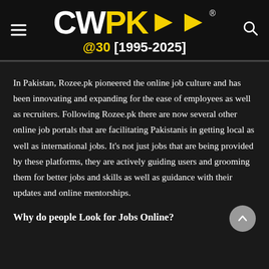[Figure (logo): CWPK logo with double arrow, @30 [1995-2025] tagline, hamburger menu icon and search icon on dark header bar]
In Pakistan, Rozee.pk pioneered the online job culture and has been innovating and expanding for the ease of employees as well as recruiters. Following Rozee.pk there are now several other online job portals that are facilitating Pakistanis in getting local as well as international jobs. It's not just jobs that are being provided by these platforms, they are actively guiding users and grooming them for better jobs and skills as well as guidance with their updates and online mentorships.
Why do people Look for Jobs Online?